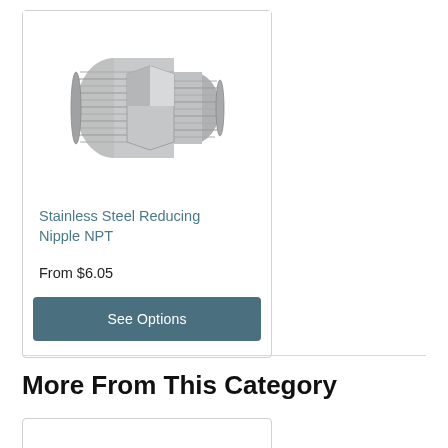[Figure (photo): Stainless steel reducing nipple NPT fitting, hexagonal body with threaded ends, metallic silver finish]
Stainless Steel Reducing Nipple NPT
From $6.05
See Options
More From This Category